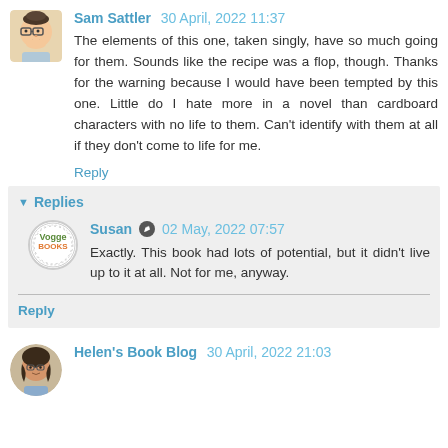Sam Sattler  30 April, 2022 11:37
The elements of this one, taken singly, have so much going for them. Sounds like the recipe was a flop, though. Thanks for the warning because I would have been tempted by this one. Little do I hate more in a novel than cardboard characters with no life to them. Can't identify with them at all if they don't come to life for me.
Reply
Replies
Susan  02 May, 2022 07:57
Exactly. This book had lots of potential, but it didn't live up to it at all. Not for me, anyway.
Reply
Helen's Book Blog  30 April, 2022 21:03